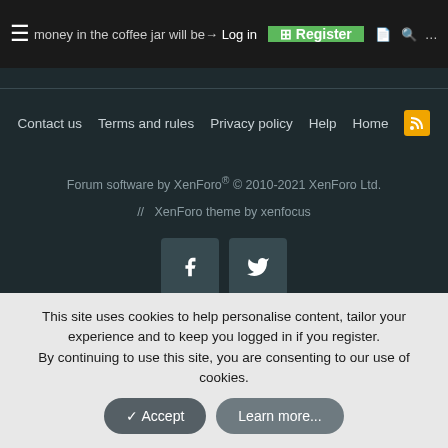money in the coffee jar will be... Log in | Register | Thanks!
Contact us   Terms and rules   Privacy policy   Help   Home
Forum software by XenForo® © 2010-2021 XenForo Ltd.
// XenForo theme by xenfocus
[Figure (other): Facebook and Twitter social media icon buttons]
This site uses cookies to help personalise content, tailor your experience and to keep you logged in if you register.
By continuing to use this site, you are consenting to our use of cookies.
Accept   Learn more...